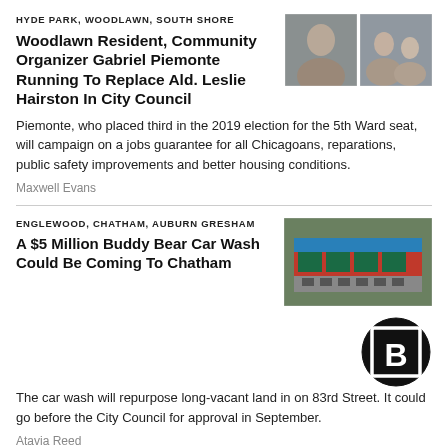HYDE PARK, WOODLAWN, SOUTH SHORE
Woodlawn Resident, Community Organizer Gabriel Piemonte Running To Replace Ald. Leslie Hairston In City Council
Piemonte, who placed third in the 2019 election for the 5th Ward seat, will campaign on a jobs guarantee for all Chicagoans, reparations, public safety improvements and better housing conditions.
Maxwell Evans
[Figure (photo): Two portrait photos side by side: a man on the left and a family group on the right]
ENGLEWOOD, CHATHAM, AUBURN GRESHAM
A $5 Million Buddy Bear Car Wash Could Be Coming To Chatham
The car wash will repurpose long-vacant land in on 83rd Street. It could go before the City Council for approval in September.
Atavia Reed
[Figure (photo): Aerial photo of a car wash facility with blue roof and parking lot]
[Figure (logo): Block Club Chicago logo: black circle with white B in a square frame]